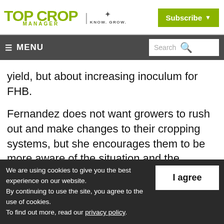Top Crop Manager | KNOW. GROW. | Subscribe
≡ MENU | Search
yield, but about increasing inoculum for FHB.
Fernandez does not want growers to rush out and make changes to their cropping systems, but she encourages them to be more aware of the situation and the potential disease problems. "Growers need to be aware that
We are using cookies to give you the best experience on our website. By continuing to use the site, you agree to the use of cookies. To find out more, read our privacy policy.